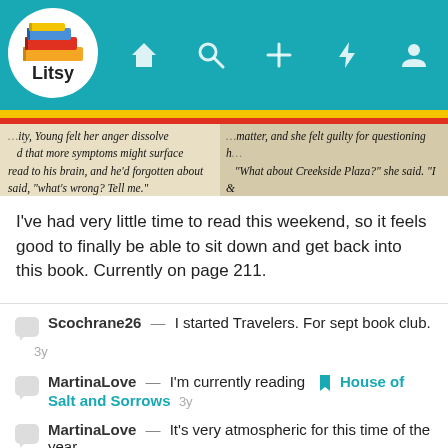[Figure (screenshot): Litsy app navigation bar with logo, home, search, add, lightning, and profile icons on teal background]
[Figure (photo): Open book pages showing italic serif text from a novel, two pages visible side by side]
I've had very little time to read this weekend, so it feels good to finally be able to sit down and get back into this book. Currently on page 211.

What are you reading today? #currentlyreading #miraclecreek
Scochrane26 — I started Travelers. For sept book club. 3y
MartinaLove — I'm currently reading [bookmark] House of Salt and Sorrows 3y
MartinaLove — It's very atmospheric for this time of the year. 3y